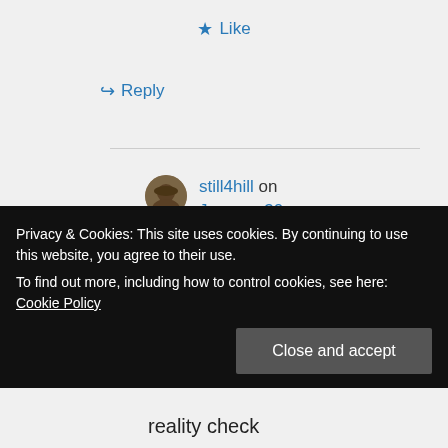Like
Reply
still4hill on January 30, 2012 at 3:21 pm
YES! I posted it on FB and I agree with her
Privacy & Cookies: This site uses cookies. By continuing to use this website, you agree to their use.
To find out more, including how to control cookies, see here: Cookie Policy
Close and accept
reality check